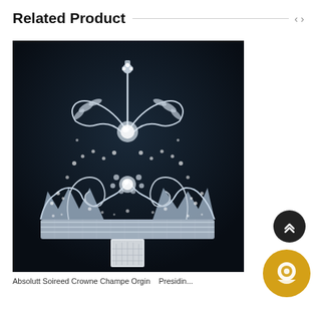Related Product
[Figure (photo): A large ornate silver rhinestone crown/tiara with intricate floral and scroll designs, encrusted with crystals and rhinestones, displayed on a white pedestal against a dark navy background.]
Absolutt Soireed Crowne Champe Orgin Presidin...